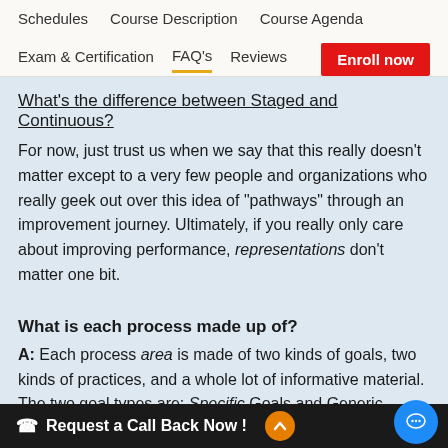Schedules   Course Description   Course Agenda
Exam & Certification   FAQ's   Reviews   Enroll now
What's the difference between Staged and Continuous?
For now, just trust us when we say that this really doesn't matter except to a very few people and organizations who really geek out over this idea of "pathways" through an improvement journey. Ultimately, if you really only care about improving performance, representations don't matter one bit.
What is each process made up of?
A: Each process area is made of two kinds of goals, two kinds of practices, and a whole lot of informative material. The two goal types are: Specific Goals and Generic Goals. Which then makes the two practices to also follow suit as: Specific Practices and Generic Practices. Astute readers c...
Request a Call Back Now !